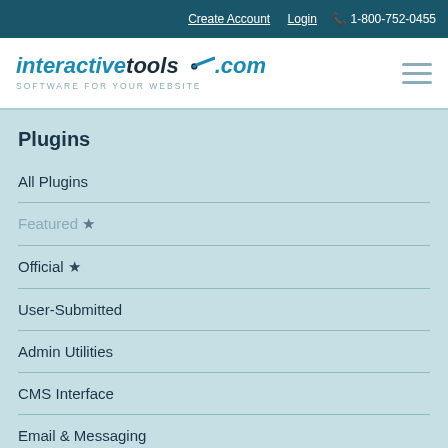Create Account  Login  1-800-752-0455
[Figure (logo): interactivetools.com logo with wrench icon and tagline SOFTWARE FOR YOUR WEBSITE]
Plugins
All Plugins
Featured ★
Official ★
User-Submitted
Admin Utilities
CMS Interface
Email & Messaging